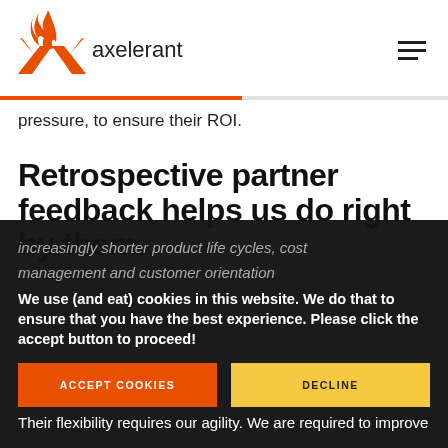[Figure (logo): Axelerant logo: orange X with flame on top, followed by 'axelerant' in dark text]
pressure, to ensure their ROI.
Retrospective partner feedback helps us do right by them.
We use (and eat) cookies in this website. We do that to ensure that you have the best experience. Please click the accept button to proceed!
increasingly shorter product life cycles, cost
management and customer orientation
Their flexibility requires our agility. We are required to improve